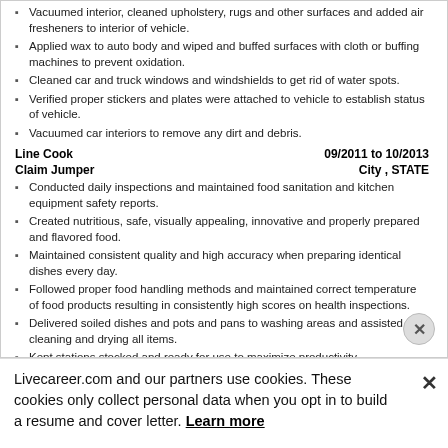Vacuumed interior, cleaned upholstery, rugs and other surfaces and added air fresheners to interior of vehicle.
Applied wax to auto body and wiped and buffed surfaces with cloth or buffing machines to prevent oxidation.
Cleaned car and truck windows and windshields to get rid of water spots.
Verified proper stickers and plates were attached to vehicle to establish status of vehicle.
Vacuumed car interiors to remove any dirt and debris.
Line Cook   09/2011 to 10/2013
Claim Jumper   City , STATE
Conducted daily inspections and maintained food sanitation and kitchen equipment safety reports.
Created nutritious, safe, visually appealing, innovative and properly prepared and flavored food.
Maintained consistent quality and high accuracy when preparing identical dishes every day.
Followed proper food handling methods and maintained correct temperature of food products resulting in consistently high scores on health inspections.
Delivered soiled dishes and pots and pans to washing areas and assisted in cleaning and drying all items.
Kept stations stocked and ready for use to maximize productivity.
Marinated food items according to corporate-provided instructions and recipes.
Precooked garnishes such as bacon pieces for later use to top off
Livecareer.com and our partners use cookies. These cookies only collect personal data when you opt in to build a resume and cover letter. Learn more